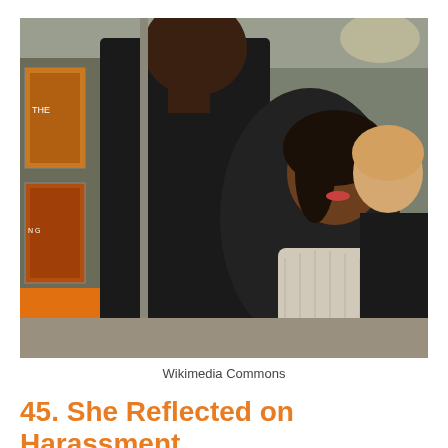[Figure (photo): Two people at what appears to be a media event or premiere. A tall man in a dark suit is seen from behind/side, leaning toward a smiling woman with dark hair wearing a light scarf and dark jacket. She is holding a Citytv microphone. In the background are movie posters and another woman in a dark blazer. The setting resembles a red carpet or lobby event.]
Wikimedia Commons
45. She Reflected on Harassment